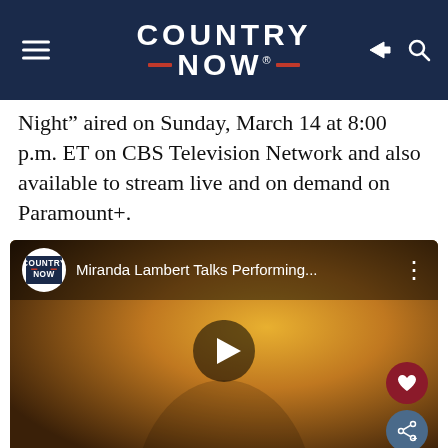COUNTRY NOW
Night” aired on Sunday, March 14 at 8:00 p.m. ET on CBS Television Network and also available to stream live and on demand on Paramount+.
[Figure (screenshot): YouTube video thumbnail showing Miranda Lambert smiling, with a Country Now logo and title 'Miranda Lambert Talks Performing...' with a play button overlay.]